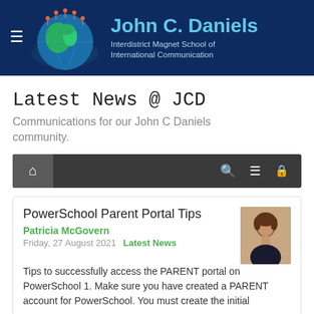[Figure (logo): John C. Daniels Interdistrict Magnet School of International Communication website header with dark blue background, globe illustration with children figures, and school name in light blue text]
Latest News @ JCD
Communications for our John C Daniels community.
[Figure (screenshot): Navigation bar with dark background showing home icon button on left, and search, menu, and lock icons on the right]
PowerSchool Parent Portal Tips
Patricia McGovern
Friday, 27 August 2021   Latest News
Tips to successfully access the PARENT portal on PowerSchool 1. Make sure you have created a PARENT account for PowerSchool. You must create the initial